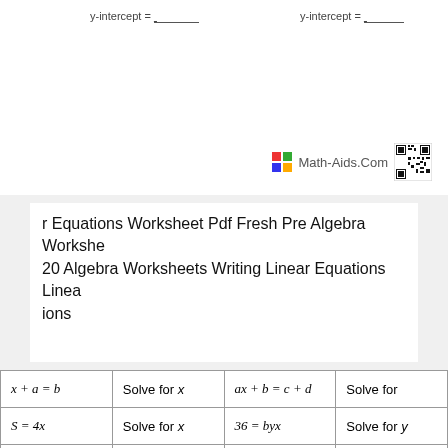y-intercept = ______
y-intercept = ______
Math-Aids.Com
r Equations Worksheet Pdf Fresh Pre Algebra Workshe 20 Algebra Worksheets Writing Linear Equations Linea ions
PREVIOUS POST
NEXT POST
| x + a = b | Solve for x | ax + b = c + d | Solve for |
| S = 4x | Solve for x | 36 = byx | Solve for y |
| x + sy = t | Solve for y | cm − d = 4 | Solve for m |